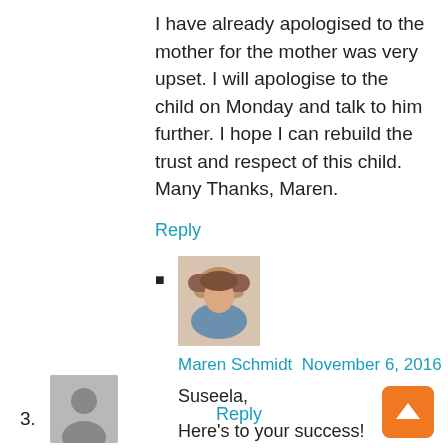I have already apologised to the mother for the mother was very upset. I will apologise to the child on Monday and talk to him further. I hope I can rebuild the trust and respect of this child. Many Thanks, Maren.
Reply
[Figure (photo): Avatar photo of Maren Schmidt, a woman with short blonde/gray hair]
Maren Schmidt November 6, 2016
Suseela,
Here's to your success!
Reply
[Figure (illustration): Orange scroll-to-top button with upward arrow]
3.
[Figure (photo): Default user avatar silhouette in gray]